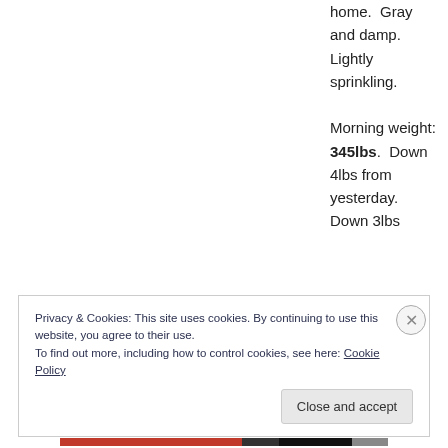home.  Gray and damp.  Lightly sprinkling.

Morning weight: 345lbs.  Down 4lbs from yesterday.  Down 3lbs
Privacy & Cookies: This site uses cookies. By continuing to use this website, you agree to their use.
To find out more, including how to control cookies, see here: Cookie Policy
Close and accept